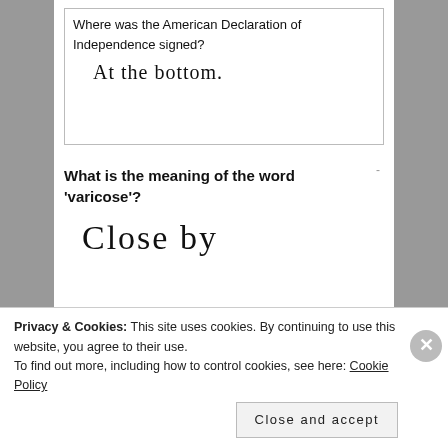Where was the American Declaration of Independence signed?
[Figure (illustration): Handwritten answer reading 'At the bottom.']
What is the meaning of the word 'varicose'?
[Figure (illustration): Handwritten answer reading 'Close by']
What is the highest frequency noise that a human can register?
Privacy & Cookies: This site uses cookies. By continuing to use this website, you agree to their use.
To find out more, including how to control cookies, see here: Cookie Policy
Close and accept